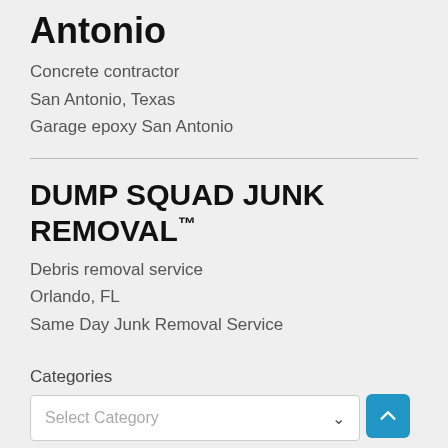Antonio
Concrete contractor
San Antonio, Texas
Garage epoxy San Antonio
DUMP SQUAD JUNK REMOVAL™
Debris removal service
Orlando, FL
Same Day Junk Removal Service
Categories
Select Category